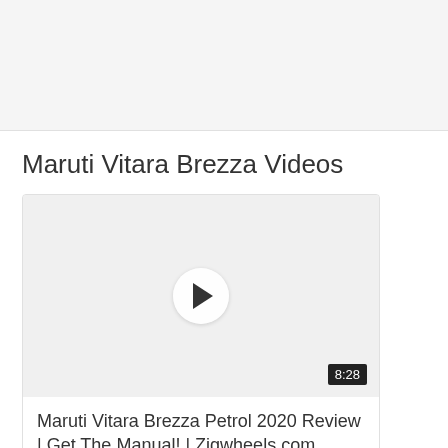[Figure (other): Top banner advertisement area with light gray background]
Maruti Vitara Brezza Videos
[Figure (screenshot): Video thumbnail with play button circle and duration badge showing 8:28]
Maruti Vitara Brezza Petrol 2020 Review | Get The Manual! | Zigwheels.com